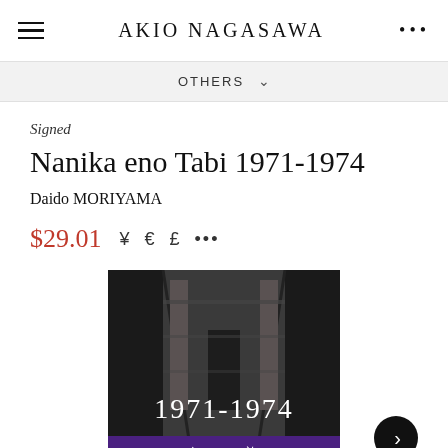AKIO NAGASAWA
OTHERS
Signed
Nanika eno Tabi 1971-1974
Daido MORIYAMA
$29.01  ¥ € £ …
[Figure (photo): Book cover of Nanika eno Tabi 1971-1974 by Daido Moriyama, showing a black and white photograph of a narrow urban alley or corridor. The number 1971-1974 appears in large serif font across the lower portion of the cover image, with Japanese text (何かへの旅) in a purple/violet banner at the bottom.]